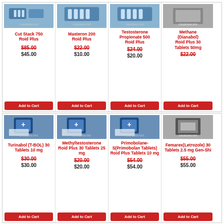[Figure (photo): Product image: Cut Stack 750 Roid Plus - vials/bottles]
Cut Stack 750 Roid Plus
$85.00 (struck) $45.00
Add to Cart
[Figure (photo): Product image: Masteron 200 Roid Plus - vials]
Masteron 200 Roid Plus
$22.00 (struck) $10.00
Add to Cart
[Figure (photo): Product image: Testosterone Propionate 500 Roid Plus - vials]
Testosterone Propionate 500 Roid Plus
$24.00 (struck) $20.00
Add to Cart
[Figure (photo): Product image: Methane (Dianabol) Roid Plus 30 Tablets 50mg]
Methane (Dianabol) Roid Plus 30 Tablets 50mg
$22.00 (struck) $22.00
Add to Cart
[Figure (photo): Product image: Turinabol (T-BOL) 30 Tablets 10 mg - blue case]
Turinabol (T-BOL) 30 Tablets 10 mg
$30.00 (struck) $30.00
Add to Cart
[Figure (photo): Product image: Methyltestosterone Roid Plus 30 Tablets 25 mg - blue case]
Methyltestosterone Roid Plus 30 Tablets 25 mg
$20.00 (struck) $20.00
Add to Cart
[Figure (photo): Product image: Primobolane-S(Primobolan Tablets) Roid Plus Tablets 10 mg - blue case]
Primobolane-S(Primobolan Tablets) Roid Plus Tablets 10 mg
$54.00 (struck) $54.00
Add to Cart
[Figure (photo): Product image: Femarex(Letrozole) 30 Tablets 2.5 mg Gen-Shi - black/silver packaging]
Femarex(Letrozole) 30 Tablets 2.5 mg Gen-Shi
$55.00 (struck) $55.00
Add to Cart